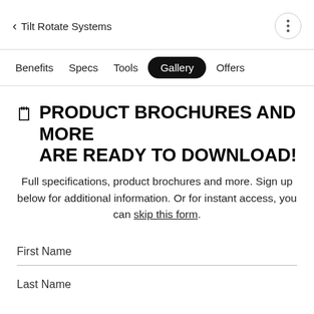< Tilt Rotate Systems
Benefits  Specs  Tools  Gallery  Offers
PRODUCT BROCHURES AND MORE ARE READY TO DOWNLOAD!
Full specifications, product brochures and more. Sign up below for additional information. Or for instant access, you can skip this form.
First Name
Last Name